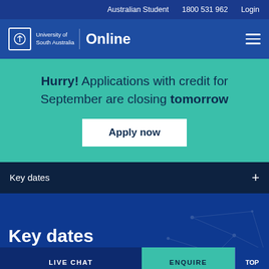Australian Student   1800 531 962   Login
[Figure (logo): University of South Australia Online logo with icon and wordmark]
Hurry! Applications with credit for September are closing tomorrow
Apply now
Key dates
Key dates
LIVE CHAT
ENQUIRE
TOP